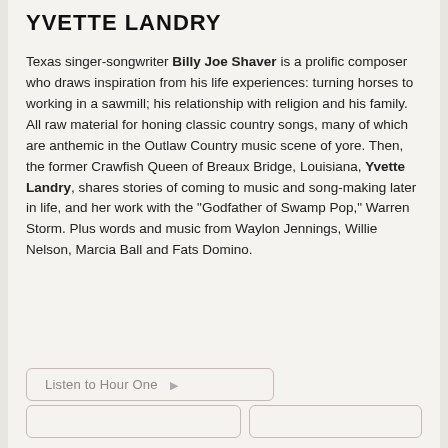YVETTE LANDRY
Texas singer-songwriter Billy Joe Shaver is a prolific composer who draws inspiration from his life experiences: turning horses to working in a sawmill; his relationship with religion and his family. All raw material for honing classic country songs, many of which are anthemic in the Outlaw Country music scene of yore. Then, the former Crawfish Queen of Breaux Bridge, Louisiana, Yvette Landry, shares stories of coming to music and song-making later in life, and her work with the “Godfather of Swamp Pop,” Warren Storm. Plus words and music from Waylon Jennings, Willie Nelson, Marcia Ball and Fats Domino.
Listen to Hour One ▷